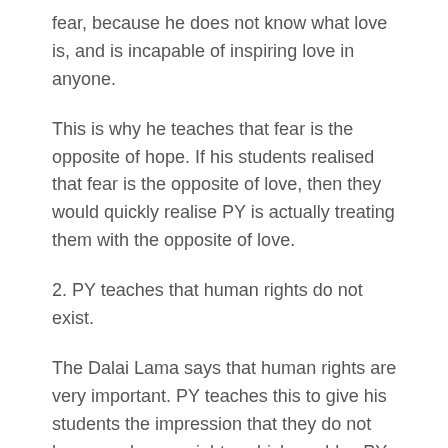fear, because he does not know what love is, and is incapable of inspiring love in anyone.
This is why he teaches that fear is the opposite of hope. If his students realised that fear is the opposite of love, then they would quickly realise PY is actually treating them with the opposite of love.
2. PY teaches that human rights do not exist.
The Dalai Lama says that human rights are very important. PY teaches this to give his students the impression that they do not have any human rights, which enables PY to treat them as less than human. PY does this so that when he abuses his students, they feel that is it not a bad thing, that they deserve it, and most importantly that any sense his students